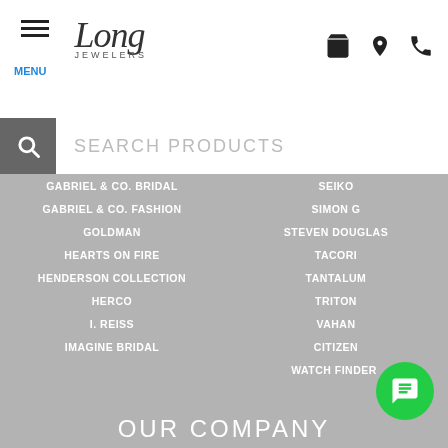Long Jewelers - MENU navigation header with cart, location, and phone icons
SEARCH PRODUCTS
GABRIEL & CO. BRIDAL
SEIKO
GABRIEL & CO. FASHION
SIMON G
GOLDMAN
STEVEN DOUGLAS
HEARTS ON FIRE
TACORI
HENDERSON COLLECTION
TANTALUM
HERCO
TRITON
I. REISS
VAHAN
IMAGINE BRIDAL
CITIZEN
WATCH FINDER
OUR COMPANY
WHAT SERVICE ARE YOU LOOKING FOR
SERVICES